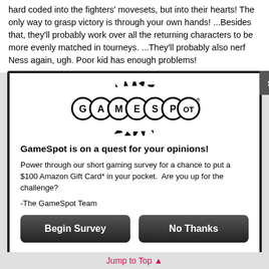hard coded into the fighters' movesets, but into their hearts! The only way to grasp victory is through your own hands! ...Besides that, they'll probably work over all the returning characters to be more evenly matched in tourneys. ...They'll probably also nerf Ness again, ugh. Poor kid has enough problems!
[Figure (logo): GameSpot logo — bold lettering in circles with starburst graphic]
GameSpot is on a quest for your opinions!
Power through our short gaming survey for a chance to put a $100 Amazon Gift Card* in your pocket.  Are you up for the challenge?
-The GameSpot Team
Begin Survey | No Thanks (buttons)
When you reply to this survey, you acknowledge that Red Ventures collects your personal data in accordance with the Red Ventures privacy policy
For sweepstakes rules, see here.
Contact us about this survey.
Jump to Top ▲